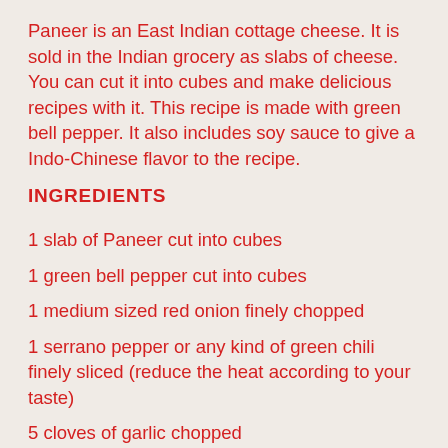Paneer is an East Indian cottage cheese. It is sold in the Indian grocery as slabs of cheese. You can cut it into cubes and make delicious recipes with it. This recipe is made with green bell pepper. It also includes soy sauce to give a Indo-Chinese flavor to the recipe.
INGREDIENTS
1 slab of Paneer cut into cubes
1 green bell pepper cut into cubes
1 medium sized red onion finely chopped
1 serrano pepper or any kind of green chili finely sliced (reduce the heat according to your taste)
5 cloves of garlic chopped